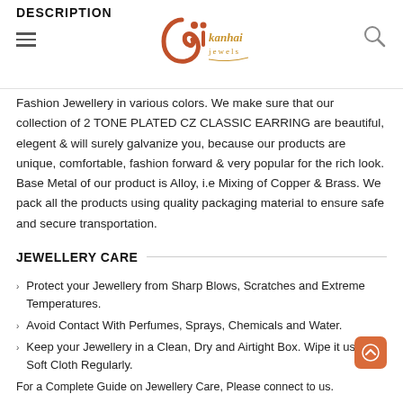DESCRIPTION
[Figure (logo): Kanhai Jewels logo with stylized KJ mark in orange/red and text 'kanhai jewels' in golden color]
Fashion Jewellery in various colors. We make sure that our collection of 2 TONE PLATED CZ CLASSIC EARRING are beautiful, elegent & will surely galvanize you, because our products are unique, comfortable, fashion forward & very popular for the rich look. Base Metal of our product is Alloy, i.e Mixing of Copper & Brass. We pack all the products using quality packaging material to ensure safe and secure transportation.
JEWELLERY CARE
Protect your Jewellery from Sharp Blows, Scratches and Extreme Temperatures.
Avoid Contact With Perfumes, Sprays, Chemicals and Water.
Keep your Jewellery in a Clean, Dry and Airtight Box. Wipe it using a Soft Cloth Regularly.
For a Complete Guide on Jewellery Care, Please connect to us.
REPLACEMENT POLICY